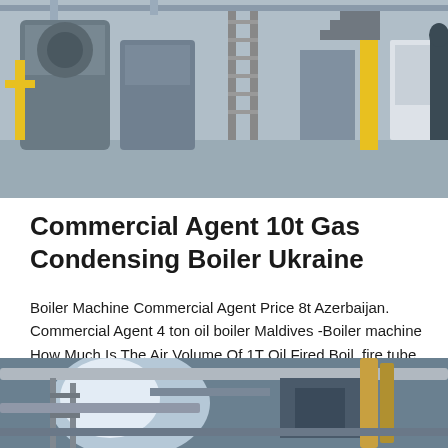[Figure (photo): Industrial boiler room interior with large cylindrical boilers, yellow pipes, metal ladders, and industrial equipment on concrete floor]
Commercial Agent 10t Gas Condensing Boiler Ukraine
Boiler Machine Commercial Agent Price 8t Azerbaijan. Commercial Agent 4 ton oil boiler Maldives -Boiler machine How Much Is The Air Volume Of 1T Oil Fired Boil. fire tube industrial gas oil steam boiler price. commercial gas oil…
[Figure (photo): Industrial boiler equipment with pipes, scaffolding, and mechanical components in a facility]